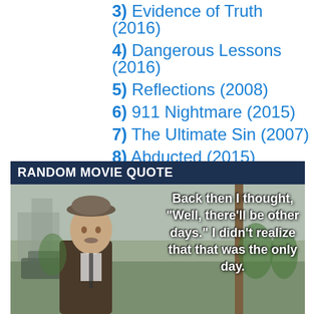3) Evidence of Truth (2016)
4) Dangerous Lessons (2016)
5) Reflections (2008)
6) 911 Nightmare (2015)
7) The Ultimate Sin (2007)
8) Abducted (2015)
9) The Promise (1999)
10) The Other Mother (2017)
[Figure (photo): Random Movie Quote banner with photo of elderly man wearing a flat cap, overlaid with text: Back then I thought, "Well, there'll be other days." I didn't realize that that was the only day.]